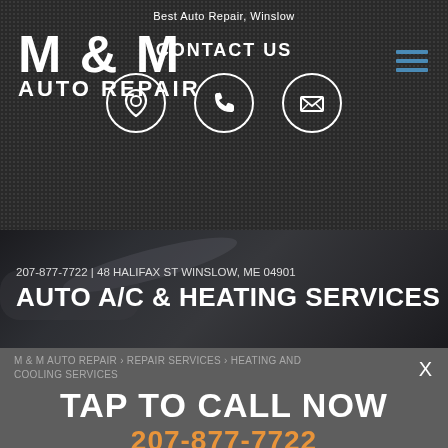Best Auto Repair, Winslow
M & M AUTO REPAIR
CONTACT US
[Figure (infographic): Three circular icons: location pin, phone, and envelope/email]
207-877-7722 | 48 HALIFAX ST WINSLOW, ME 04901
AUTO A/C & HEATING SERVICES
M & M AUTO REPAIR > REPAIR SERVICES > HEATING AND COOLING SERVICES
TAP TO CALL NOW
207-877-7722
Are you wishing that your vehicle's heat or air conditioning was as efficient as it was when you first purchased it? M & M Auto